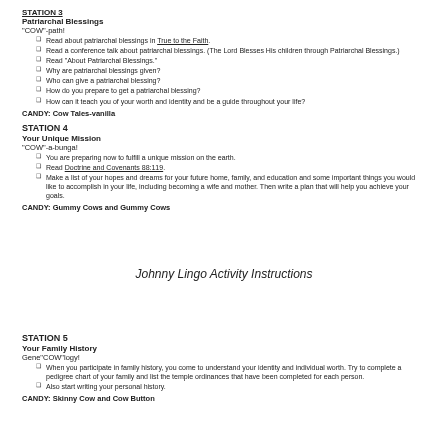STATION 3
Patriarchal Blessings
"COW"-path!
Read about patriarchal blessings in True to the Faith.
Read a conference talk about patriarchal blessings. (The Lord Blesses His children through Patriarchal Blessings.)
Read "About Patriarchal Blessings."
Why are patriarchal blessings given?
Who can give a patriarchal blessing?
How do you prepare to get a patriarchal blessing?
How can it teach you of your worth and identity and be a guide throughout your life?
CANDY: Cow Tales-vanilla
STATION 4
Your Unique Mission
"COW"-a-bunga!
You are preparing now to fulfill a unique mission on the earth.
Read Doctrine and Covenants 88:119.
Make a list of your hopes and dreams for your future home, family, and education and some important things you would like to accomplish in your life, including becoming a wife and mother. Then write a plan that will help you achieve your goals.
CANDY: Gummy Cows and Gummy Cows
Johnny Lingo Activity Instructions
STATION 5
Your Family History
Gene"COW"logy!
When you participate in family history, you come to understand your identity and individual worth. Try to complete a pedigree chart of your family and list the temple ordinances that have been completed for each person.
Also start writing your personal history.
CANDY: Skinny Cow and Cow Button